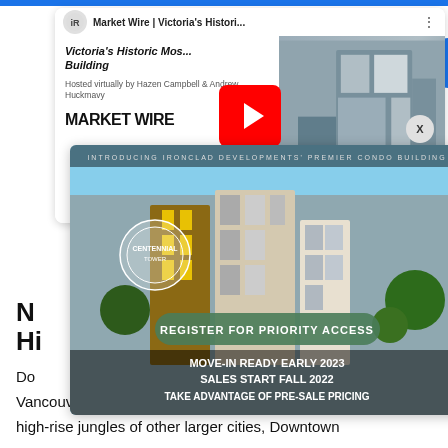[Figure (screenshot): YouTube video card showing 'Market Wire | Victoria's Histori...' with iR logo, thumbnail of a building on the right, and title 'Victoria's Historic Mos... Building' hosted virtually by Hazen Campbell & Andrew Huckmavy]
[Figure (photo): Centennial Tower condo advertisement overlay: 'INTRODUCING IRONCLAD DEVELOPMENTS' PREMIER CONDO BUILDING', building render, circle logo, 'REGISTER FOR PRIORITY ACCESS', 'MOVE-IN READY EARLY 2023', 'SALES START FALL 2022', 'TAKE ADVANTAGE OF PRE-SALE PRICING']
Vancouver Island gets! Unlike the concrete and high-rise jungles of other larger cities, Downtown Victoria manages to offer the best of city life without sacrificing the tranquil appeal of Island living. When